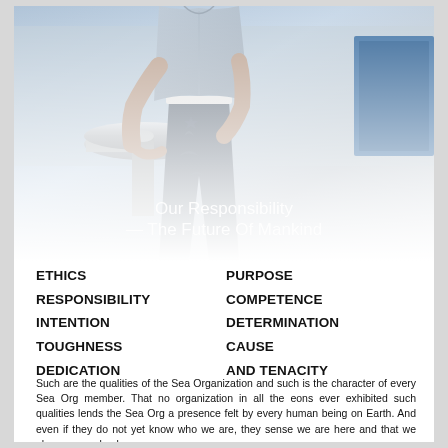[Figure (photo): A person in grey slacks and a light blue-grey button-up shirt, holding a metal railing, photographed from chest down. Text overlay reads 'Our Responsibility — The Future Of Mankind'.]
ETHICS
PURPOSE
RESPONSIBILITY
COMPETENCE
INTENTION
DETERMINATION
TOUGHNESS
CAUSE
DEDICATION
AND TENACITY
Such are the qualities of the Sea Organization and such is the character of every Sea Org member. That no organization in all the eons ever exhibited such qualities lends the Sea Org a presence felt by every human being on Earth. And even if they do not yet know who we are, they sense we are here and that we always come back.